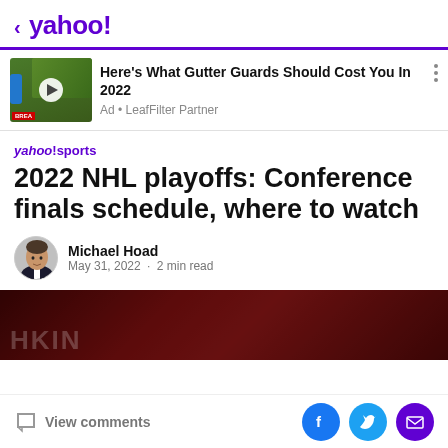< yahoo!
[Figure (screenshot): Ad banner with thumbnail image of gutter/downspout with play button overlay and BREA label]
Here's What Gutter Guards Should Cost You In 2022
Ad • LeafFilter Partner
yahoo!sports
2022 NHL playoffs: Conference finals schedule, where to watch
Michael Hoad
May 31, 2022 · 2 min read
[Figure (photo): Dark red hockey crowd photo with player jersey showing HKIN text]
View comments